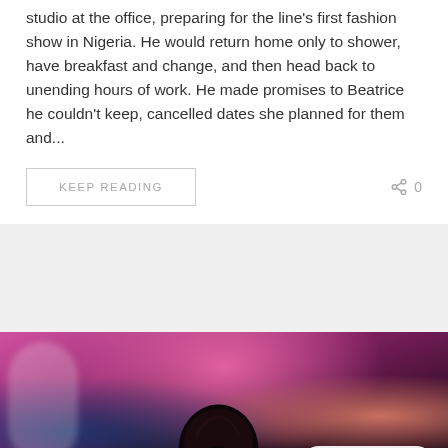studio at the office, preparing for the line's first fashion show in Nigeria. He would return home only to shower, have breakfast and change, and then head back to unending hours of work. He made promises to Beatrice he couldn't keep, cancelled dates she planned for them and...
KEEP READING
0
[Figure (photo): Partially visible photo of a woman with braided hair in foreground, blurred colorful background with pink and blue decorations and other people]
Light  Dark